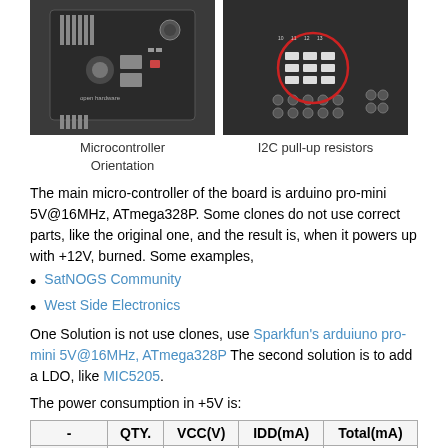[Figure (photo): Photo of a microcontroller board (arduino pro-mini) shown from above, dark background with components visible]
[Figure (photo): Close-up photo of I2C pull-up resistors on a PCB, with a red circle highlighting the resistors]
Microcontroller Orientation
I2C pull-up resistors
The main micro-controller of the board is arduino pro-mini 5V@16MHz, ATmega328P. Some clones do not use correct parts, like the original one, and the result is, when it powers up with +12V, burned. Some examples,
SatNOGS Community
West Side Electronics
One Solution is not use clones, use Sparkfun's arduiuno pro-mini 5V@16MHz, ATmega328P The second solution is to add a LDO, like MIC5205.
The power consumption in +5V is:
| - | QTY. | VCC(V) | IDD(mA) | Total(mA) |
| --- | --- | --- | --- | --- |
| AS5601 | 2 | 5 | 6.5 | 13 |